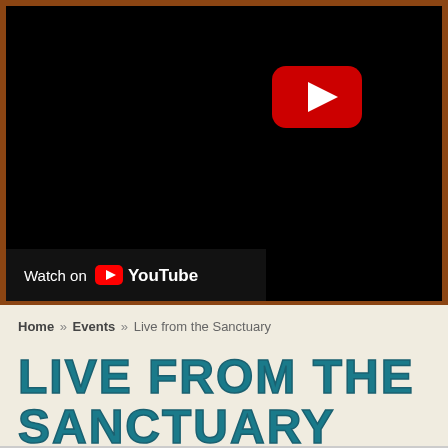[Figure (screenshot): YouTube video embed showing a black video player with a red YouTube play button in the upper right area, and a 'Watch on YouTube' bar at the bottom left]
Home » Events » Live from the Sanctuary
LIVE FROM THE SANCTUARY